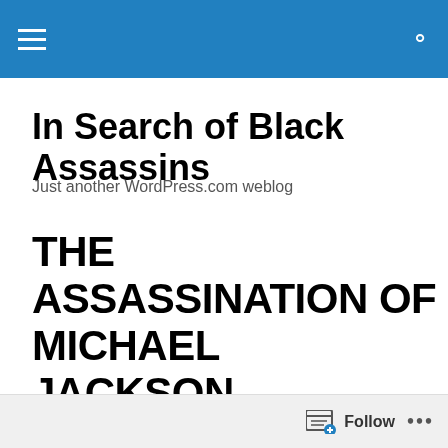In Search of Black Assassins
Just another WordPress.com weblog
THE ASSASSINATION OF MICHAEL JACKSON, JONESTOWN, MIND CONTROL AND DR. CONRAD MURRAY, LUCIFER'S MOST SECRET SERVANT, THE PERFECT PATSY
Follow ...